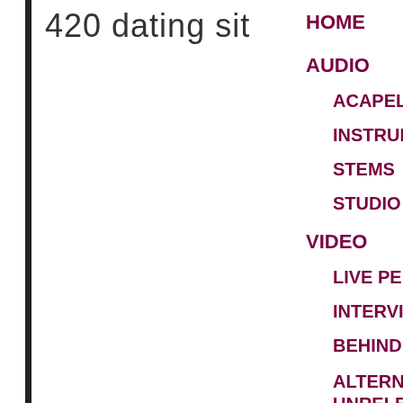420 dating sit
HOME
AUDIO
ACAPELLAS
INSTRUMENTALS
STEMS
STUDIO VERSIONS
VIDEO
LIVE PERFORMANCES
INTERVIEWS
BEHIND THE SCENES
ALTERNATIVE / UNRELEASED VIDEOS